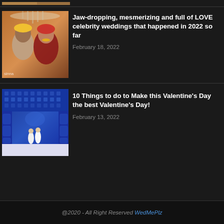[Figure (photo): Partial crop of an image at the top of the page]
[Figure (photo): Indian wedding couple photo with groom in turban and bride in red bridal attire with chandelier decorations overhead]
Jaw-dropping, mesmerizing and full of LOVE celebrity weddings that happened in 2022 so far
February 18, 2022
[Figure (photo): Blue ornate corridor/hallway with intricate blue tilework on ceiling and walls, two people walking in white outfits]
10 Things to do to Make this Valentine's Day the best Valentine's Day!
February 13, 2022
@2020 - All Right Reserved WedMePlz